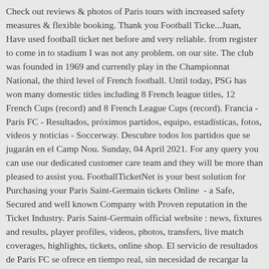Check out reviews & photos of Paris tours with increased safety measures & flexible booking. Thank you Football Ticke...Juan, Have used football ticket net before and very reliable. from register to come in to stadium I was not any problem. on our site. The club was founded in 1969 and currently play in the Championnat National, the third level of French football. Until today, PSG has won many domestic titles including 8 French league titles, 12 French Cups (record) and 8 French League Cups (record). Francia - Paris FC - Resultados, próximos partidos, equipo, estadísticas, fotos, videos y noticias - Soccerway. Descubre todos los partidos que se jugarán en el Camp Nou. Sunday, 04 April 2021. For any query you can use our dedicated customer care team and they will be more than pleased to assist you. FootballTicketNet is your best solution for Purchasing your Paris Saint-Germain tickets Online  - a Safe, Secured and well known Company with Proven reputation in the Ticket Industry. Paris Saint-Germain official website : news, fixtures and results, player profiles, videos, photos, transfers, live match coverages, highlights, tickets, online shop. El servicio de resultados de Paris FC se ofrece en tiempo real, sin necesidad de recargar la página. The entire Paris FC event schedule is available at the TicketSupply website. Paris FC Tour Dates 2021. Fill in your personal details (no need to register). Other